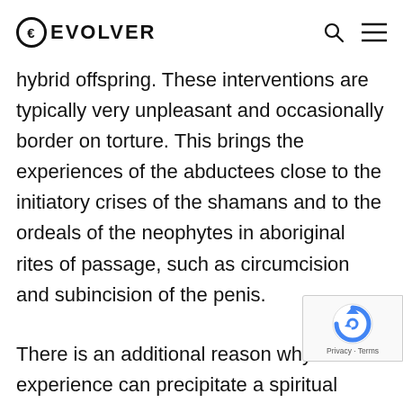EVOLVER
hybrid offspring. These interventions are typically very unpleasant and occasionally border on torture. This brings the experiences of the abductees close to the initiatory crises of the shamans and to the ordeals of the neophytes in aboriginal rites of passage, such as circumcision and subincision of the penis.

There is an additional reason why a UFO experience can precipitate a spiritual crisis. It is similar to the problem we have discussed earlier in relation to spirit guides and channeling. The alien visitors